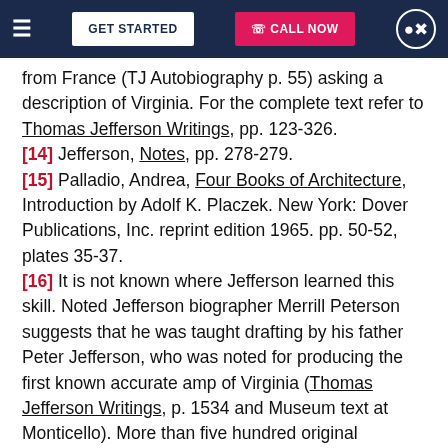Navigation bar with GET STARTED and CALL NOW buttons
from France (TJ Autobiography p. 55) asking a description of Virginia. For the complete text refer to Thomas Jefferson Writings, pp. 123-326.
[14] Jefferson, Notes, pp. 278-279.
[15] Palladio, Andrea, Four Books of Architecture, Introduction by Adolf K. Placzek. New York: Dover Publications, Inc. reprint edition 1965. pp. 50-52, plates 35-37.
[16] It is not known where Jefferson learned this skill. Noted Jefferson biographer Merrill Peterson suggests that he was taught drafting by his father Peter Jefferson, who was noted for producing the first known accurate amp of Virginia (Thomas Jefferson Writings, p. 1534 and Museum text at Monticello). More than five hundred original drawings still exist. For a complete list with select illustrations see